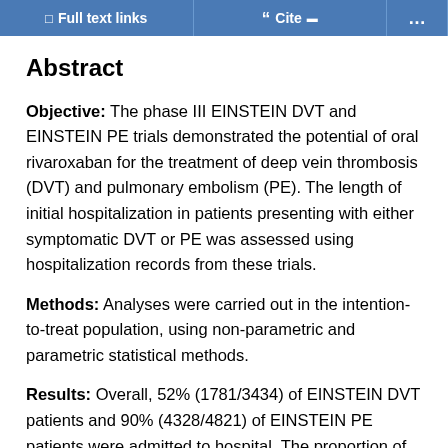Full text links | Cite | ...
Abstract
Objective: The phase III EINSTEIN DVT and EINSTEIN PE trials demonstrated the potential of oral rivaroxaban for the treatment of deep vein thrombosis (DVT) and pulmonary embolism (PE). The length of initial hospitalization in patients presenting with either symptomatic DVT or PE was assessed using hospitalization records from these trials.
Methods: Analyses were carried out in the intention-to-treat population, using non-parametric and parametric statistical methods.
Results: Overall, 52% (1781/3434) of EINSTEIN DVT patients and 90% (4328/4821) of EINSTEIN PE patients were admitted to hospital. The proportion of hospitalized patients with a length of stay of five or fewer days